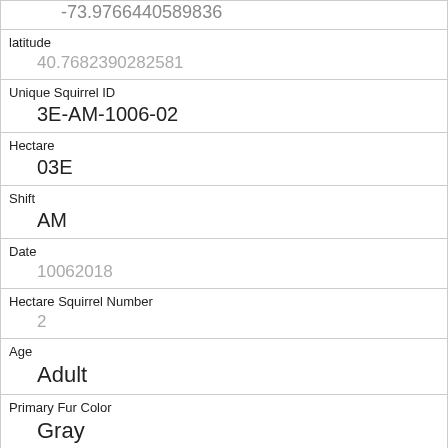| -73.9766440589836 |
| latitude | 40.7682390282581 |
| Unique Squirrel ID | 3E-AM-1006-02 |
| Hectare | 03E |
| Shift | AM |
| Date | 10062018 |
| Hectare Squirrel Number | 2 |
| Age | Adult |
| Primary Fur Color | Gray |
| Highlight Fur Color |  |
| Combination of Primary and Highlight Color |  |